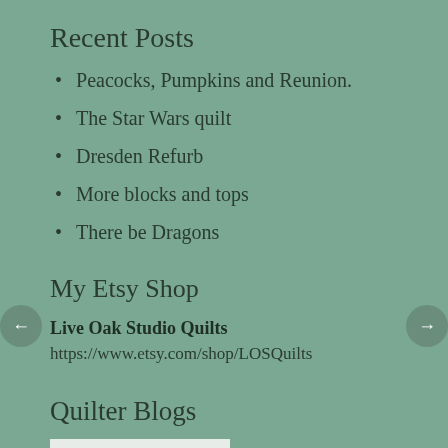Recent Posts
Peacocks, Pumpkins and Reunion.
The Star Wars quilt
Dresden Refurb
More blocks and tops
There be Dragons
My Etsy Shop
Live Oak Studio Quilts
https://www.etsy.com/shop/LOSQuilts
Quilter Blogs
[Figure (photo): Blog image thumbnail partially visible at bottom]